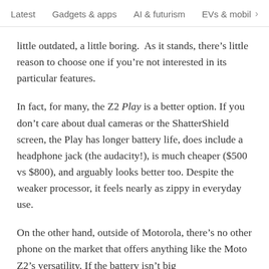Latest   Gadgets & apps   AI & futurism   EVs & mobil  >
little outdated, a little boring.  As it stands, there's little reason to choose one if you're not interested in its particular features.
In fact, for many, the Z2 Play is a better option. If you don't care about dual cameras or the ShatterShield screen, the Play has longer battery life, does include a headphone jack (the audacity!), is much cheaper ($500 vs $800), and arguably looks better too. Despite the weaker processor, it feels nearly as zippy in everyday use.
On the other hand, outside of Motorola, there's no other phone on the market that offers anything like the Moto Z2's versatility. If the battery isn't big